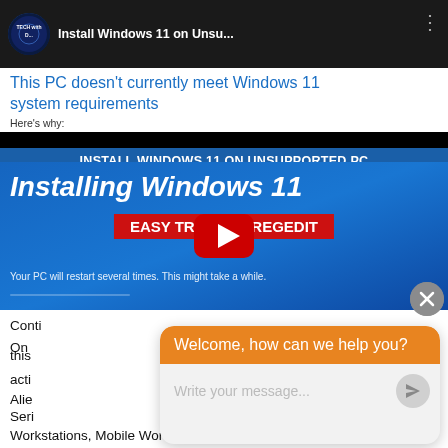[Figure (screenshot): YouTube video thumbnail showing 'Install Windows 11 on Unsu...' with channel icon 'TECH with...' and three-dot menu]
This PC doesn't currently meet Windows 11 system requirements
Here's why:
INSTALL WINDOWS 11 ON UNSUPPORTED PC
[Figure (screenshot): Video thumbnail showing 'Installing Windows 11' text in white on blue background with 'EASY TRICK ON REGEDIT' in red bar, YouTube play button overlay, text 'Your PC will restart several times. This might take a while.']
Conti...
On
this
acti
Alie
Seri
Workstations, Mobile Workstations. This way, you can
Welcome, how can we help you?
Write your message...